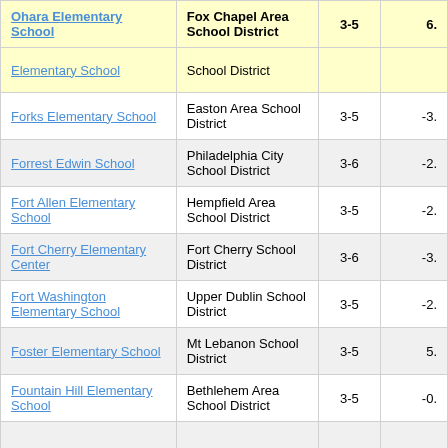| School Name | School District | Grades | Score |
| --- | --- | --- | --- |
| Ohara Elementary School | Fox Chapel Area School District | 3-5 | 6. |
| Elementary School (partial) | School District (partial) |  |  |
| Forks Elementary School | Easton Area School District | 3-5 | -3. |
| Forrest Edwin School | Philadelphia City School District | 3-6 | -2. |
| Fort Allen Elementary School | Hempfield Area School District | 3-5 | -2. |
| Fort Cherry Elementary Center | Fort Cherry School District | 3-6 | -3. |
| Fort Washington Elementary School | Upper Dublin School District | 3-5 | -2. |
| Foster Elementary School | Mt Lebanon School District | 3-5 | 5. |
| Fountain Hill Elementary School | Bethlehem Area School District | 3-5 | -0. |